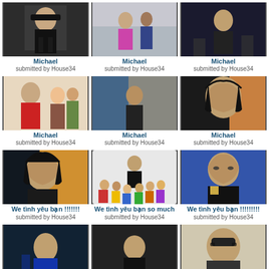[Figure (photo): Photo of Michael Jackson in dark outfit holding award]
Michael
submitted by House34
[Figure (photo): Photo of Michael Jackson with others outdoors]
Michael
submitted by House34
[Figure (photo): Photo of Michael Jackson performing on stage]
Michael
submitted by House34
[Figure (photo): Photo of Michael Jackson with children]
Michael
submitted by House34
[Figure (photo): Photo of Michael Jackson near large structure]
Michael
submitted by House34
[Figure (photo): Close-up portrait of Michael Jackson with long hair]
Michael
submitted by House34
[Figure (photo): Close-up portrait of Michael Jackson with long hair on orange background]
We tình yêu bạn !!!!!!!
submitted by House34
[Figure (photo): Michael Jackson sitting with group of children]
We tình yêu bạn so much
submitted by House34
[Figure (photo): Michael Jackson in sunglasses and military style jacket]
We tình yêu bạn !!!!!!!!!
submitted by House34
[Figure (photo): Michael Jackson performing on stage in blue light]
We tình yêu bạn !!!!!!!
[Figure (photo): Michael Jackson dancing]
[Figure (photo): Michael Jackson in hat and sunglasses]